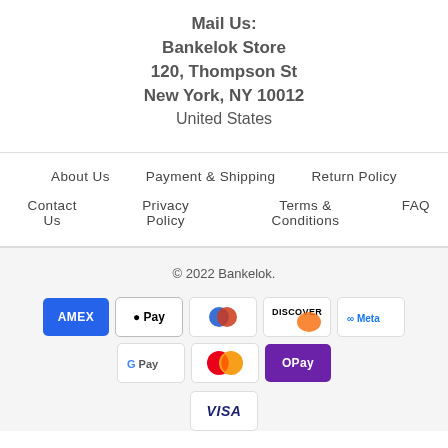Mail Us:
Bankelok Store
120, Thompson St
New York, NY 10012
United States
About Us
Payment & Shipping
Return Policy
Contact Us
Privacy Policy
Terms & Conditions
FAQ
© 2022 Bankelok.
[Figure (logo): Payment method icons: American Express, Apple Pay, Diners Club, Discover, Meta, Google Pay, Mastercard, OPay, Visa]